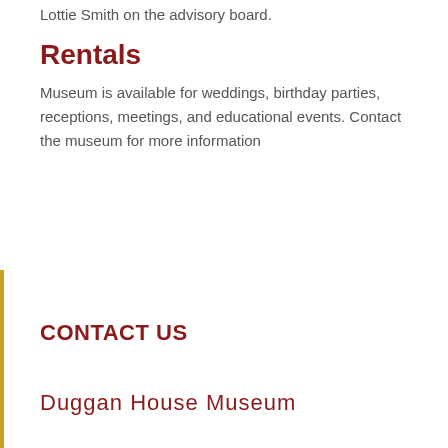Lottie Smith on the advisory board.
Rentals
Museum is available for weddings, birthday parties, receptions, meetings, and educational events. Contact the museum for more information
CONTACT US
Duggan House Museum
Physical Address